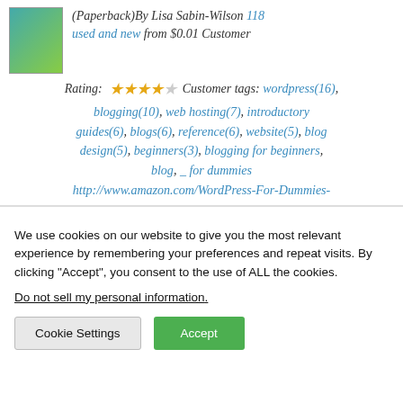(Paperback)By Lisa Sabin-Wilson 118 used and new from $0.01 Customer Rating: ★★★★☆ Customer tags: wordpress(16), blogging(10), web hosting(7), introductory guides(6), blogs(6), reference(6), website(5), blog design(5), beginners(3), blogging for beginners, blog, _ for dummies http://www.amazon.com/WordPress-For-Dummies-
We use cookies on our website to give you the most relevant experience by remembering your preferences and repeat visits. By clicking "Accept", you consent to the use of ALL the cookies.
Do not sell my personal information.